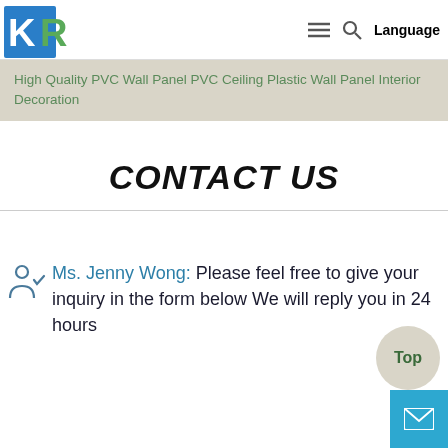[Figure (logo): KR company logo with blue and green K and R letters]
High Quality PVC Wall Panel PVC Ceiling Plastic Wall Panel Interior Decoration
CONTACT US
Ms. Jenny Wong: Please feel free to give your inquiry in the form below We will reply you in 24 hours